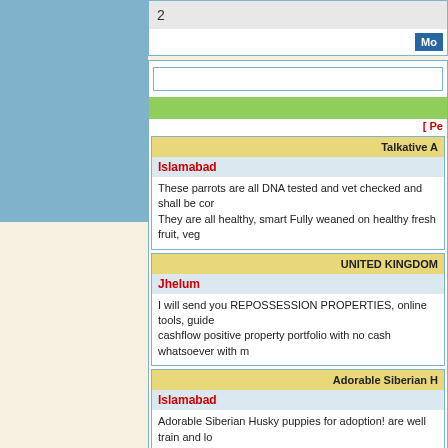[Figure (other): Blue rectangle placeholder image on the left side]
2
Mo
[ Pe
Talkative A
Islamabad
These parrots are all DNA tested and vet checked and shall be cor They are all healthy, smart Fully weaned on healthy fresh fruit, veg
UNITED KINGDOM
Jhelum
I will send you REPOSSESSION PROPERTIES, online tools, guide cashflow positive property portfolio with no cash whatsoever with m
Adorable Siberian H
Islamabad
Adorable Siberian Husky puppies for adoption! are well train and lo please email us at {what} bellaswart122@yahoo.com for details an